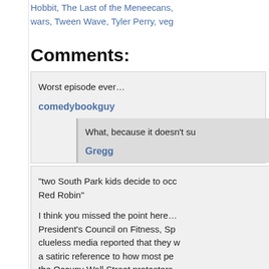Hobbit, The Last of the Meneecans, wars, Tween Wave, Tyler Perry, veg...
Comments:
Worst episode ever…
comedybookguy
What, because it doesn't su...
Gregg
“two South Park kids decide to occ... Red Robin”
I think you missed the point here… President’s Council on Fitness, Sp... clueless media reported that they w... a satiric reference to how most pe... the Occupy Wall Street protesters...